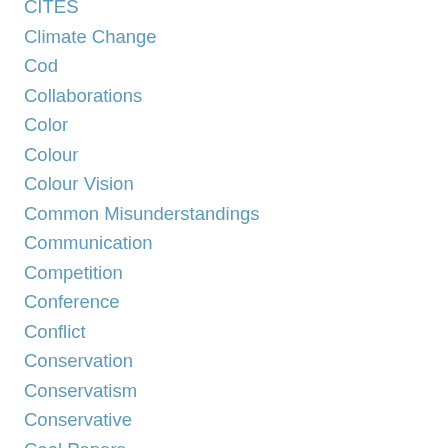CITES
Climate Change
Cod
Collaborations
Color
Colour
Colour Vision
Common Misunderstandings
Communication
Competition
Conference
Conflict
Conservation
Conservatism
Conservative
Cool Papers
Cool Research
Cooperation
Crime
Crows